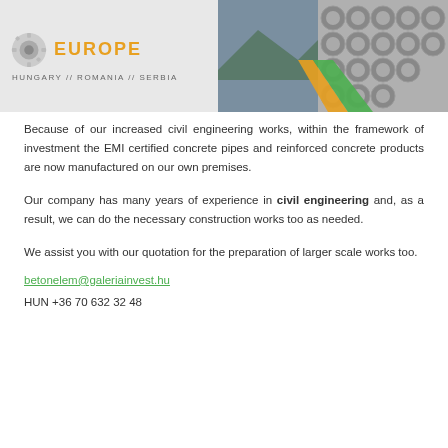[Figure (illustration): Company banner with 'EUROPE' text in orange, logo with gear/pipe design, countries listed as HUNGARY // ROMANIA // SERBIA, and photo of concrete pipes on right side with green/orange diagonal design]
Because of our increased civil engineering works, within the framework of investment the EMI certified concrete pipes and reinforced concrete products are now manufactured on our own premises.
Our company has many years of experience in civil engineering and, as a result, we can do the necessary construction works too as needed.
We assist you with our quotation for the preparation of larger scale works too.
betonelem@galeriainvest.hu
HUN +36 70 632 32 48